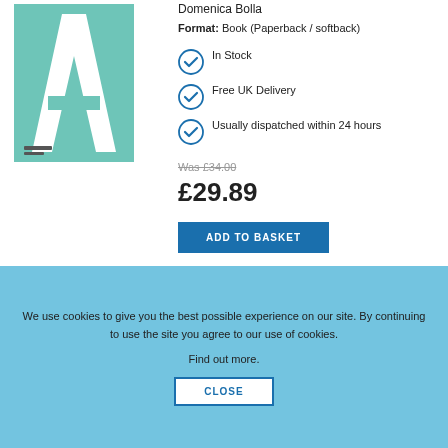[Figure (illustration): Book cover with teal/mint green background and large white letter A graphic]
Domenica Bolla
Format: Book (Paperback / softback)
In Stock
Free UK Delivery
Usually dispatched within 24 hours
Was £34.00
£29.89
ADD TO BASKET
We use cookies to give you the best possible experience on our site. By continuing to use the site you agree to our use of cookies.
Find out more.
CLOSE